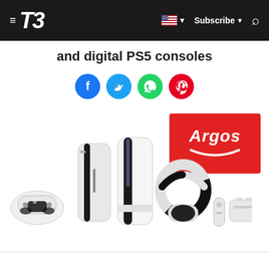T3 — Subscribe — Search
and digital PS5 consoles
[Figure (other): Social media sharing buttons: Facebook (blue), Twitter (light blue), WhatsApp (green), Pinterest (red)]
[Figure (photo): PS5 consoles (disc and digital editions), DualSense controller, Pulse 3D headset, HD camera, DualSense charging station, media remote, and Argos logo on red background]